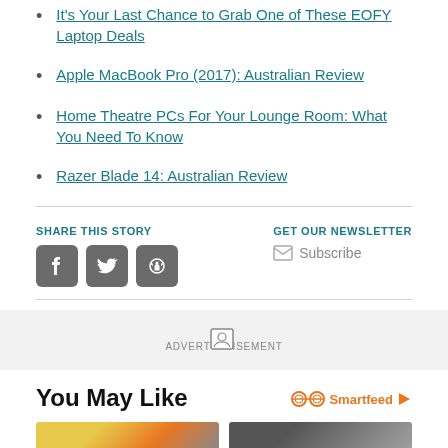It's Your Last Chance to Grab One of These EOFY Laptop Deals
Apple MacBook Pro (2017): Australian Review
Home Theatre PCs For Your Lounge Room: What You Need To Know
Razer Blade 14: Australian Review
SHARE THIS STORY
GET OUR NEWSLETTER
Subscribe
ADVERTISEMENT
You May Like
[Figure (logo): Smartfeed logo with infinity/glasses icon]